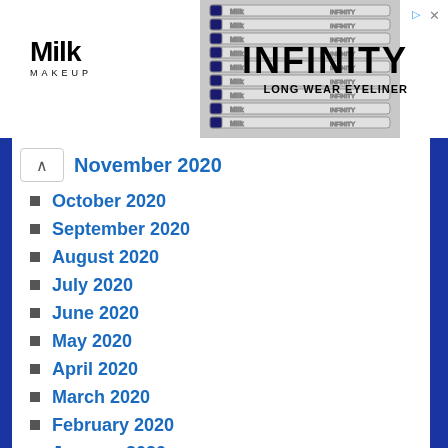[Figure (photo): Milk Makeup advertisement banner featuring pencil eyeliners and INFINITY LONG WEAR EYELINER branding]
November 2020
October 2020
September 2020
August 2020
July 2020
June 2020
May 2020
April 2020
March 2020
February 2020
January 2020
December 2019
November 2019
October 2019
September 2019
August 2019
July 2019
June 2019